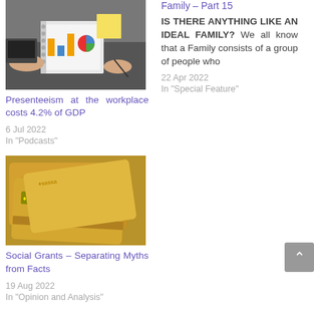[Figure (photo): Person working at desk with charts and notebook, sticky note visible]
Presenteeism at the workplace costs 4.2% of GDP
6 Jul 2022
In "Podcasts"
Family – Part 15
IS THERE ANYTHING LIKE AN IDEAL FAMILY? We all know that a Family consists of a group of people who
22 Apr 2022
In "Special Feature"
[Figure (photo): SASSA social grant cards stacked together]
Social Grants – Separating Myths from Facts
19 Aug 2022
In "Opinion and Analysis"